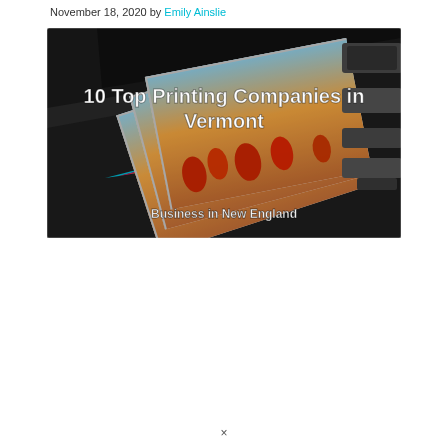November 18, 2020 by Emily Ainslie
[Figure (photo): A printing press with colorful printed sheets showing red poppies in a field against a sunset sky, with CMYK registration marks visible along the edge. Overlaid text reads '10 Top Printing Companies in Vermont' and 'Business in New England'.]